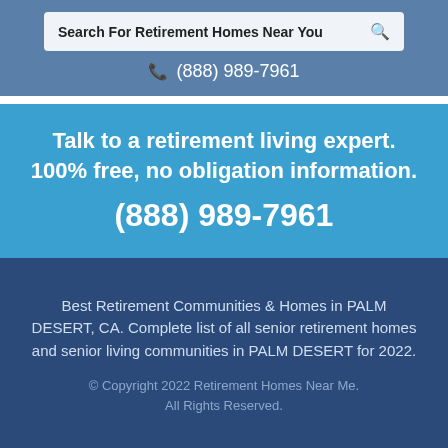Search For Retirement Homes Near You
(888) 989-7961
Talk to a retirement living expert. 100% free, no obligation information. (888) 989-7961
Best Retirement Communities & Homes in PALM DESERT, CA. Complete list of all senior retirement homes and senior living communities in PALM DESERT for 2022.
© Copyright 2022 Retirement Homes Near Me. All Rights Reserved.